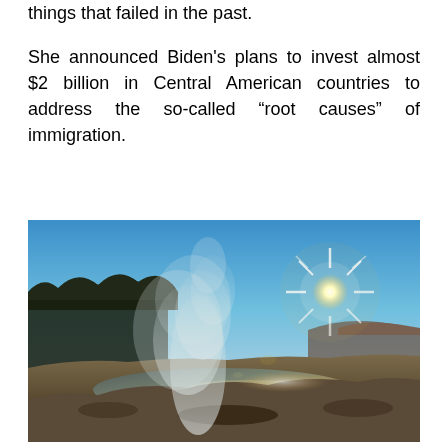things that failed in the past.
She announced Biden's plans to invest almost $2 billion in Central American countries to address the so-called “root causes” of immigration.
[Figure (photo): Outdoor nature photo of a geyser or hot spring erupting with steam rising into a bright blue sky. A starburst sun is visible on the right side. Dark silhouetted trees line the left background. The foreground shows rocky, muddy terrain with a reflective pool of water.]